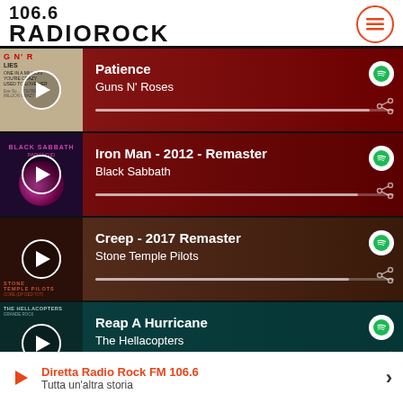106.6 RADIOROCK
Patience — Guns N' Roses
Iron Man - 2012 - Remaster — Black Sabbath
Creep - 2017 Remaster — Stone Temple Pilots
Reap A Hurricane — The Hellacopters
Diretta Radio Rock FM 106.6 — Tutta un'altra storia